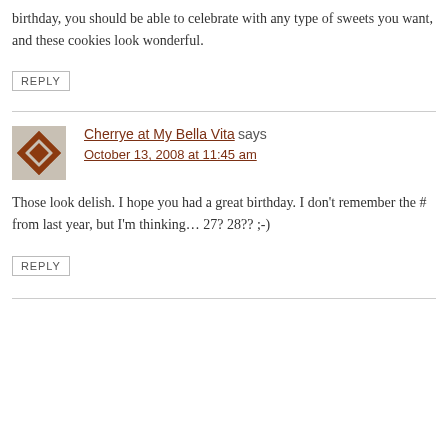birthday, you should be able to celebrate with any type of sweets you want, and these cookies look wonderful.
REPLY
Cherrye at My Bella Vita says
October 13, 2008 at 11:45 am

Those look delish. I hope you had a great birthday. I don't remember the # from last year, but I'm thinking… 27? 28?? ;-)
REPLY